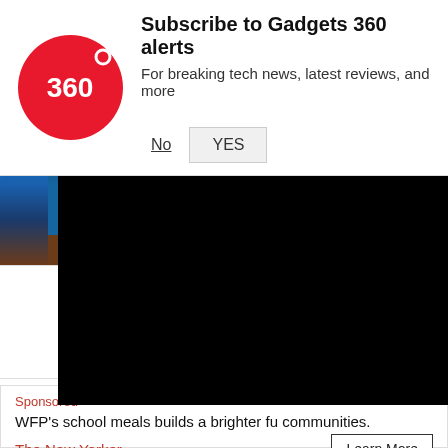[Figure (logo): Gadgets 360 circular red logo with white '360' text]
Subscribe to Gadgets 360 alerts
For breaking tech news, latest reviews, and more
No
YES
[Figure (photo): Small thumbnail image showing a person at a podium on a blue stage]
हिन्दी
28 सेप अप्र सोनी 15 ऑफ अनिवार्य iPhone, Apple-1
अपडेट पर या पर और करा अपना चाहिए
Flipkart पर मिल : 8GB RAM 5G वाल 24,999 पर मिल पर ड
Sponsored
WFP's school meals builds a brighter fu communities.
The New Yorker
Learn More
अप का अपडेट पर और का पर 9999 चाहिए,